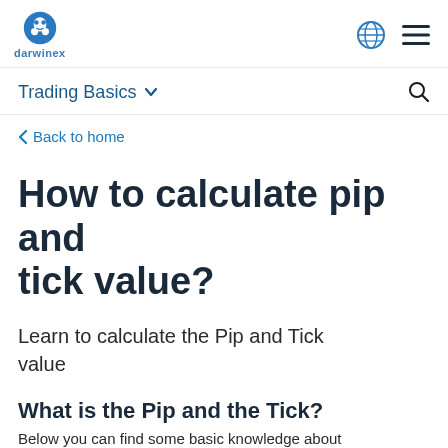darwinex
Trading Basics
Back to home
How to calculate pip and tick value?
Learn to calculate the Pip and Tick value
What is the Pip and the Tick?